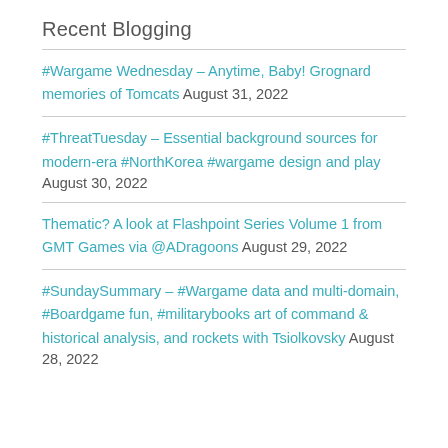Recent Blogging
#Wargame Wednesday – Anytime, Baby! Grognard memories of Tomcats August 31, 2022
#ThreatTuesday – Essential background sources for modern-era #NorthKorea #wargame design and play August 30, 2022
Thematic? A look at Flashpoint Series Volume 1 from GMT Games via @ADragoons August 29, 2022
#SundaySummary – #Wargame data and multi-domain, #Boardgame fun, #militarybooks art of command & historical analysis, and rockets with Tsiolkovsky August 28, 2022